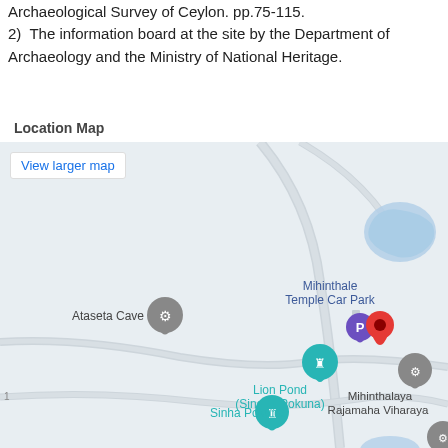Archaeological Survey of Ceylon. pp.75-115.
2)  The information board at the site by the Department of Archaeology and the Ministry of National Heritage.
Location Map
[Figure (map): Google Maps embed showing the area around Mihinthale, Sri Lanka. Key landmarks visible: Ataseta Cave (grey pin), Mihinthale Temple Car Park (parking icon), Lion Pond (Singha Pokuna) (teal castle pin), Sinha Pokuna (teal castle pin), Mihinthalaya Rajamaha Viharaya (grey pin), and a red location pin marking the main site. A blue water body is visible in the upper right. Roads shown as grey lines on light background.]